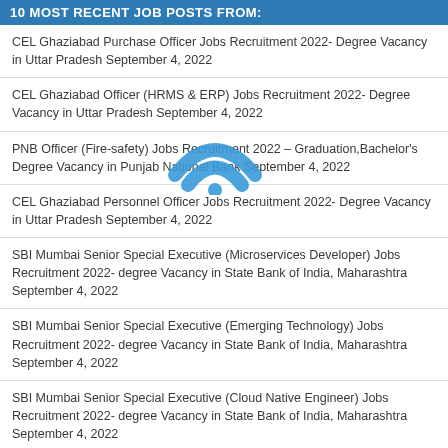10 MOST RECENT JOB POSTS FROM:
CEL Ghaziabad Purchase Officer Jobs Recruitment 2022- Degree Vacancy in Uttar Pradesh September 4, 2022
CEL Ghaziabad Officer (HRMS & ERP) Jobs Recruitment 2022- Degree Vacancy in Uttar Pradesh September 4, 2022
PNB Officer (Fire-safety) Jobs Recruitment 2022 – Graduation,Bachelor's Degree Vacancy in Punjab National Bank September 4, 2022
CEL Ghaziabad Personnel Officer Jobs Recruitment 2022- Degree Vacancy in Uttar Pradesh September 4, 2022
SBI Mumbai Senior Special Executive (Microservices Developer) Jobs Recruitment 2022- degree Vacancy in State Bank of India, Maharashtra September 4, 2022
SBI Mumbai Senior Special Executive (Emerging Technology) Jobs Recruitment 2022- degree Vacancy in State Bank of India, Maharashtra September 4, 2022
SBI Mumbai Senior Special Executive (Cloud Native Engineer) Jobs Recruitment 2022- degree Vacancy in State Bank of India, Maharashtra September 4, 2022
SBI Mumbai Senior Special Executive (DevOps) Jobs Recruitment